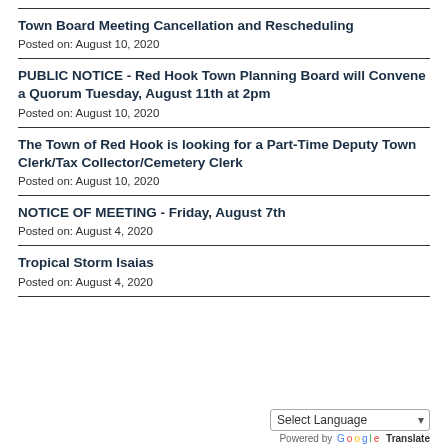Town Board Meeting Cancellation and Rescheduling
Posted on: August 10, 2020
PUBLIC NOTICE - Red Hook Town Planning Board will Convene a Quorum Tuesday, August 11th at 2pm
Posted on: August 10, 2020
The Town of Red Hook is looking for a Part-Time Deputy Town Clerk/Tax Collector/Cemetery Clerk
Posted on: August 10, 2020
NOTICE OF MEETING - Friday, August 7th
Posted on: August 4, 2020
Tropical Storm Isaias
Posted on: August 4, 2020